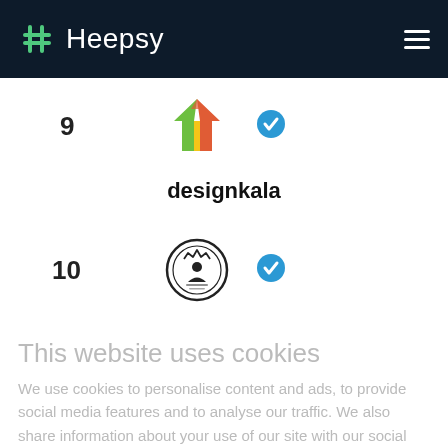Heepsy
[Figure (logo): Heepsy logo with green hashtag-style icon and white text on dark navy navigation bar]
9
[Figure (logo): Designkala logo: colorful house/building with arrows icon]
[Figure (illustration): Blue verified/checkmark badge]
designkala
10
[Figure (logo): Circular emblem/seal logo in black and white]
[Figure (illustration): Blue verified/checkmark badge]
This website uses cookies
We use cookies to personalise content and ads, to provide social media features and to analyse our traffic. We also share information about your use of our site with our social media, advertising and analytics partners who may